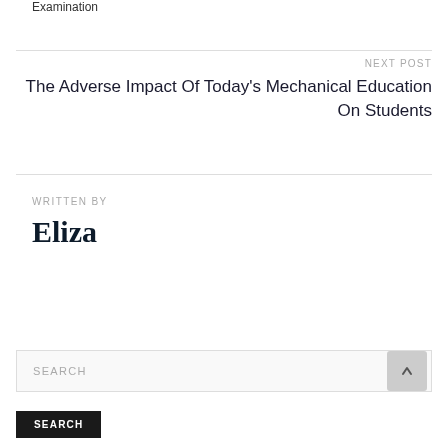Examination
NEXT POST
The Adverse Impact Of Today's Mechanical Education On Students
WRITTEN BY
Eliza
SEARCH